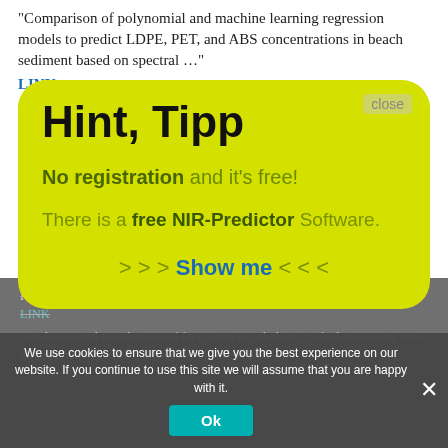“Comparison of polynomial and machine learning regression models to predict LDPE, PET, and ABS concentrations in beach sediment based on spectral …”
LINK
“Machine Learning of Raman Spectroscopy Data for Classifying Cancers: A Review of the Recent Literature”
[Figure (screenshot): Yellow rounded hint/tooltip box overlay with title 'Hint, Tipp', text 'No registration and it's free!', 'There is a free NIR-Predictor Software.', and '> > > Show me < < <' link. Has a 'close' button in top right corner.]
Parameters Using Combined Data and Different Machine Learning Models LINK
“Prediction and visualization of fat content in polythene-packed meat using near-infrared hyperspectral imaging and chemometrics” LINK
We use cookies to ensure that we give you the best experience on our website. If you continue to use this site we will assume that you are happy with it.
Ok